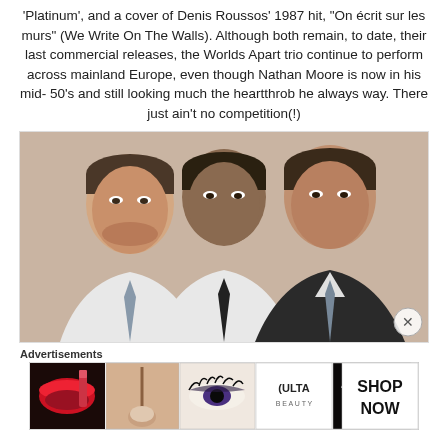'Platinum', and a cover of Denis Roussos' 1987 hit, "On écrit sur les murs" (We Write On The Walls). Although both remain, to date, their last commercial releases, the Worlds Apart trio continue to perform across mainland Europe, even though Nathan Moore is now in his mid-50's and still looking much the heartthrob he always way. There just ain't no competition(!)
[Figure (photo): Three men in dress shirts and ties posing together for a photo against a light beige/tan background. The men appear to be in their 40s-50s and are dressed smartly.]
Advertisements
[Figure (screenshot): An Ulta Beauty advertisement strip showing beauty/makeup imagery including lips with red lipstick, a makeup brush, eye makeup, the Ulta Beauty logo, and a close-up of eyes with heavy mascara, with a 'SHOP NOW' call to action.]